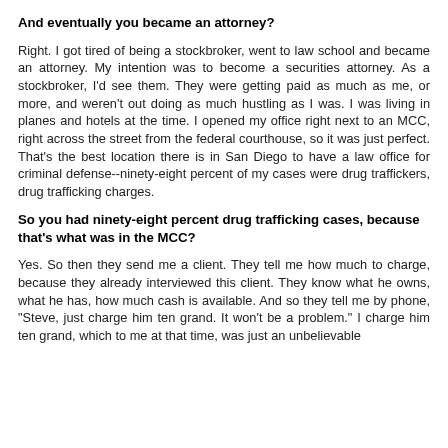And eventually you became an attorney?
Right. I got tired of being a stockbroker, went to law school and became an attorney. My intention was to become a securities attorney. As a stockbroker, I'd see them. They were getting paid as much as me, or more, and weren't out doing as much hustling as I was. I was living in planes and hotels at the time. I opened my office right next to an MCC, right across the street from the federal courthouse, so it was just perfect. That's the best location there is in San Diego to have a law office for criminal defense--ninety-eight percent of my cases were drug traffickers, drug trafficking charges.
So you had ninety-eight percent drug trafficking cases, because that's what was in the MCC?
Yes. So then they send me a client. They tell me how much to charge, because they already interviewed this client. They know what he owns, what he has, how much cash is available. And so they tell me by phone, "Steve, just charge him ten grand. It won't be a problem." I charge him ten grand, which to me at that time, was just an unbelievable